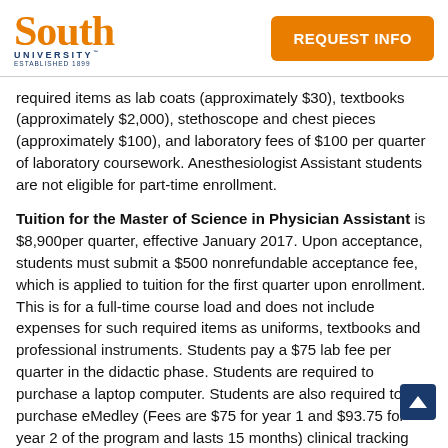South University™ ESTABLISHED 1899 | REQUEST INFO
required items as lab coats (approximately $30), textbooks (approximately $2,000), stethoscope and chest pieces (approximately $100), and laboratory fees of $100 per quarter of laboratory coursework. Anesthesiologist Assistant students are not eligible for part-time enrollment.
Tuition for the Master of Science in Physician Assistant is $8,900per quarter, effective January 2017. Upon acceptance, students must submit a $500 nonrefundable acceptance fee, which is applied to tuition for the first quarter upon enrollment. This is for a full-time course load and does not include expenses for such required items as uniforms, textbooks and professional instruments. Students pay a $75 lab fee per quarter in the didactic phase. Students are required to purchase a laptop computer. Students are also required to purchase eMedley (Fees are $75 for year 1 and $93.75 for year 2 of the program and lasts 15 months) clinical tracking software for this program at the Richmond, Savannah and West Palm Beach campuses and Typhon (one-time fee of $80) clinical tracking software for this program at the